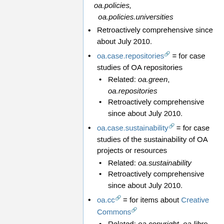oa.policies, oa.policies.universities
Retroactively comprehensive since about July 2010.
oa.case.repositories = for case studies of OA repositories
Related: oa.green, oa.repositories
Retroactively comprehensive since about July 2010.
oa.case.sustainability = for case studies of the sustainability of OA projects or resources
Related: oa.sustainability
Retroactively comprehensive since about July 2010.
oa.cc = for items about Creative Commons
Related: oa.copyright, oa.libre,